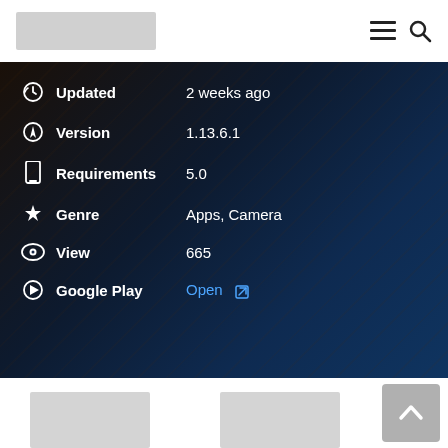[Figure (logo): Website logo placeholder (grey rectangle)]
[Figure (other): Hamburger menu icon and search icon in header]
Updated   2 weeks ago
Version   1.13.6.1
Requirements   5.0
Genre   Apps, Camera
View   665
Google Play   Open
[Figure (other): Two grey thumbnail image placeholders at bottom left and center]
[Figure (other): Back to top button (grey with up arrow chevron) at bottom right]